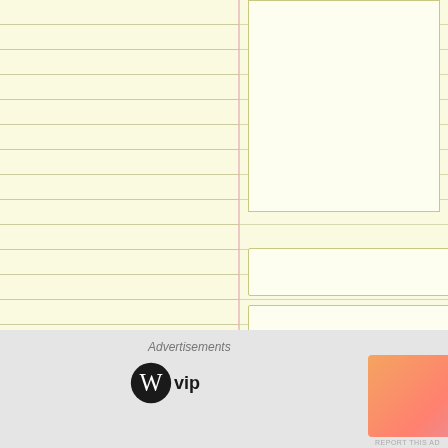[Figure (screenshot): WordPress comment form with name, email, website fields, post comment button, and notification checkboxes on a yellow lined notepad background. Bottom shows advertisement bar with WordPress VIP logo and a colorful banner ad with Learn more button.]
Name *
Email *
Website
Post Comment
Notify me of new comments via email.
Notify me of new posts via email.
Advertisements
WP vip
Learn more →
REPORT THIS AD